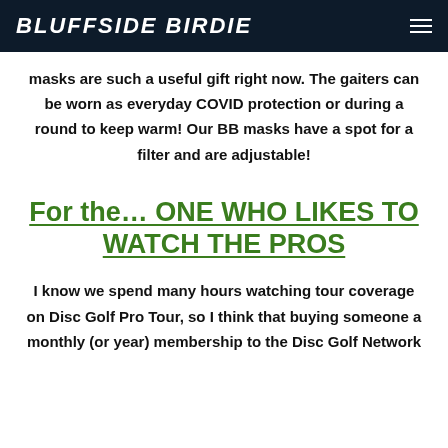BLUFFSIDE BIRDIE
masks are such a useful gift right now. The gaiters can be worn as everyday COVID protection or during a round to keep warm! Our BB masks have a spot for a filter and are adjustable!
For the… ONE WHO LIKES TO WATCH THE PROS
I know we spend many hours watching tour coverage on Disc Golf Pro Tour, so I think that buying someone a monthly (or year) membership to the Disc Golf Network